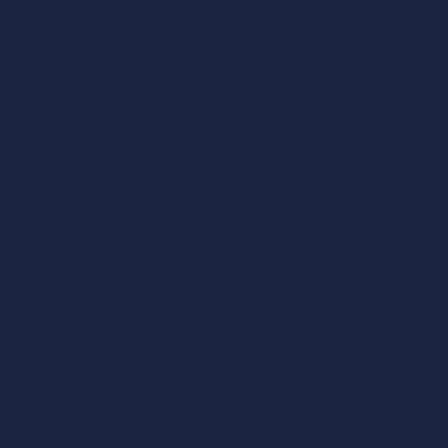MGA
Mobil...
MrSlo...
Neon...
NetGa...
Noble...
North...
Nucle...
OMI G...
OneT...
Onlyp...
Oryx ...
Parip...
Pear ...
PG S...
Plank...
Platip...
Play N...
Playb...
PlayP...
Plays...
Pragm...
Proba...
Push...
Quick...
Red R...
Red...